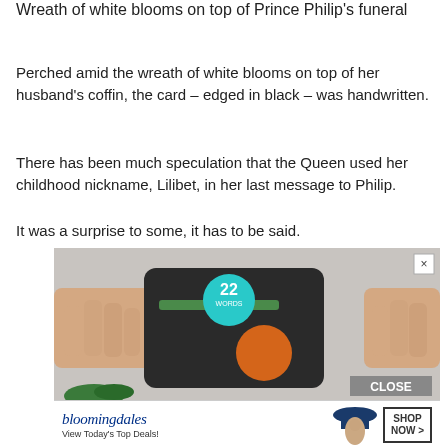Wreath of white blooms on top of Prince Philip's funeral
Perched amid the wreath of white blooms on top of her husband's coffin, the card – edged in black – was handwritten.
There has been much speculation that the Queen used her childhood nickname, Lilibet, in her last message to Philip.
It was a surprise to some, it has to be said.
[Figure (screenshot): Advertisement showing a kitchen gadget (food processor/juicer with orange ball), with '22 Words' circular logo badge overlay, a close button (X) in top right, and a 'CLOSE' button in bottom right. Below is a Bloomingdales advertisement with logo, 'View Today's Top Deals!' text, a woman in a hat, and 'SHOP NOW >' button.]